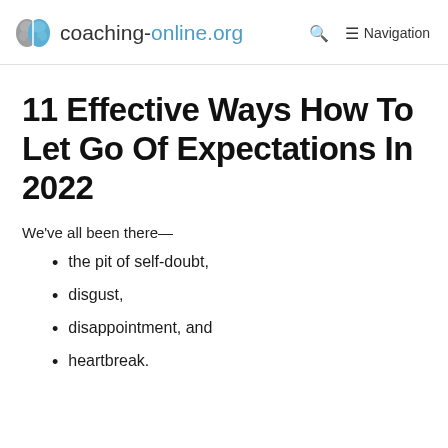coaching-online.org  🔍  ≡ Navigation
11 Effective Ways How To Let Go Of Expectations In 2022
We've all been there—
the pit of self-doubt,
disgust,
disappointment, and
heartbreak.